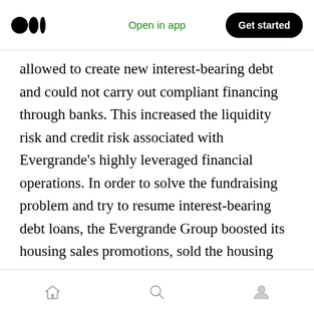Open in app | Get started
allowed to create new interest-bearing debt and could not carry out compliant financing through banks. This increased the liquidity risk and credit risk associated with Evergrande's highly leveraged financial operations. In order to solve the fundraising problem and try to resume interest-bearing debt loans, the Evergrande Group boosted its housing sales promotions, sold the housing assets it owns, and continuously sought to expand its capital inflow channels by issuing high-yield financial products through its subsidiary, Evergrande Wealth company. By
Home | Search | Profile